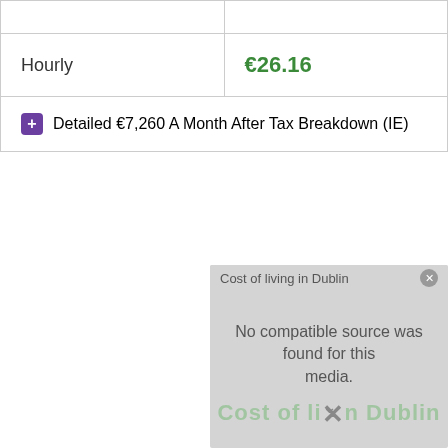|  |  |
| --- | --- |
|  |  |
| Hourly | €26.16 |
+ Detailed €7,260 A Month After Tax Breakdown (IE)
[Figure (screenshot): Media player overlay showing 'Cost of living in Dublin' title bar with close button, message 'No compatible source was found for this media.', an X mark, and a watermark text 'Cost of living in Dublin' with a down chevron.]